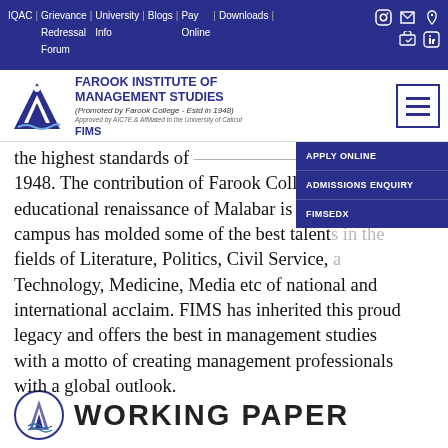IQAC | Grievance Redressal Forum | University Info | Blogs | Pay Online | Downloads |
[Figure (logo): FIMS logo with blue triangle and wave design, alongside FAROOK INSTITUTE OF MANAGEMENT STUDIES text]
The contribution of Farook College in the educational renaissance of Malabar is unparallel. The campus has molded some of the best talents in the fields of Literature, Politics, Civil Service, Technology, Medicine, Media etc of national and international acclaim. FIMS has inherited this proud legacy and offers the best in management studies with a motto of creating management professionals with a global outlook.
APPLY ONLINE
ADMISSIONS ENQUIRY
FIMSEDX
WORKING PAPER